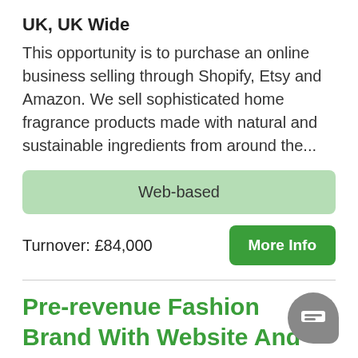UK, UK Wide
This opportunity is to purchase an online business selling through Shopify, Etsy and Amazon. We sell sophisticated home fragrance products made with natural and sustainable ingredients from around the...
Web-based
Turnover: £84,000
More Info
Pre-revenue Fashion Brand With Website And